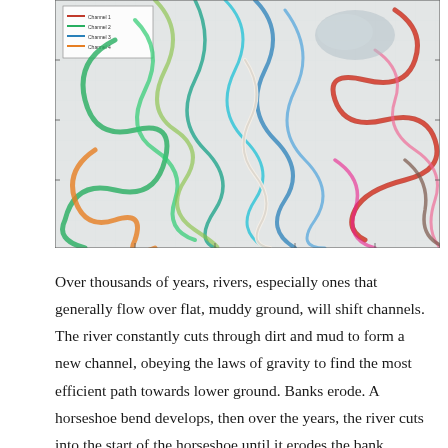[Figure (map): A colorful geological or hydrological map showing river meanders and channel migrations over time. The map shows numerous colorful looping and swirling lines in red, green, blue, orange, pink, and other colors on a light background, depicting shifting river channels. A small legend box is visible in the upper left corner of the map.]
Over thousands of years, rivers, especially ones that generally flow over flat, muddy ground, will shift channels. The river constantly cuts through dirt and mud to form a new channel, obeying the laws of gravity to find the most efficient path towards lower ground. Banks erode. A horseshoe bend develops, then over the years, the river cuts into the start of the horseshoe until it erodes the bank completely, cutting off the horseshoe